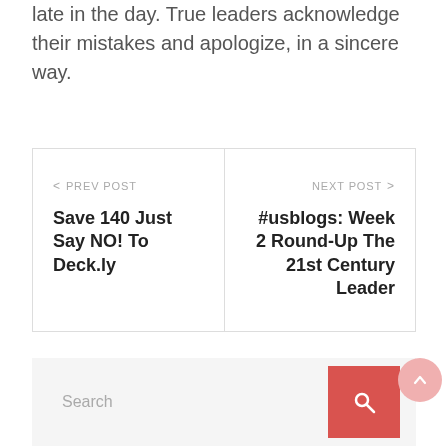late in the day. True leaders acknowledge their mistakes and apologize, in a sincere way.
< PREV POST
Save 140 Just Say NO! To Deck.ly
NEXT POST >
#usblogs: Week 2 Round-Up The 21st Century Leader